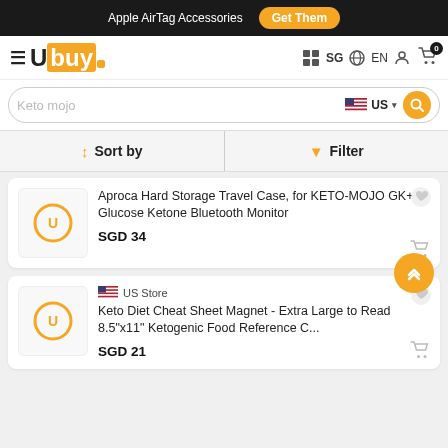Apple AirTag Accessories  Get Them
[Figure (logo): Ubuy logo with hamburger menu and navigation icons (SG, EN, user, cart with 0 badge)]
Keto mojo  US
Sort by  Filter
Aproca Hard Storage Travel Case, for KETO-MOJO GK+ Glucose Ketone Bluetooth Monitor
SGD 34
US Store
Keto Diet Cheat Sheet Magnet - Extra Large to Read 8.5"x11" Ketogenic Food Reference C...
SGD 21